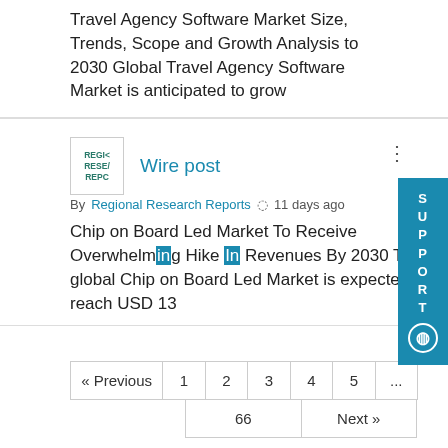Travel Agency Software Market Size, Trends, Scope and Growth Analysis to 2030 Global Travel Agency Software Market is anticipated to grow
Wire post
By Regional Research Reports  11 days ago
Chip on Board Led Market To Receive Overwhelming Hike In Revenues By 2030 The global Chip on Board Led Market is expected to reach USD 13
« Previous  1  2  3  4  5  ...
66  Next »